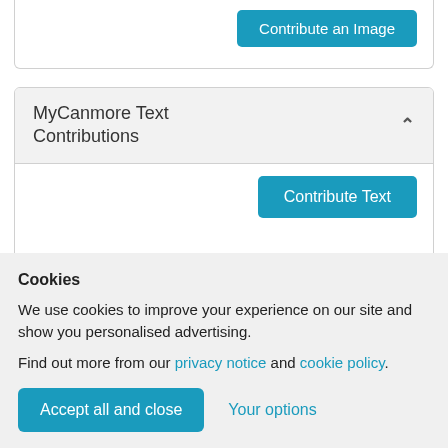[Figure (screenshot): Teal 'Contribute an Image' button at top right of a card]
MyCanmore Text Contributions
[Figure (screenshot): Teal 'Contribute Text' button inside the MyCanmore Text Contributions card]
Cookies
We use cookies to improve your experience on our site and show you personalised advertising.
Find out more from our privacy notice and cookie policy.
Accept all and close   Your options